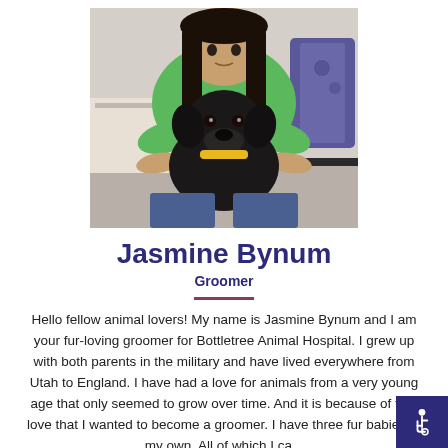[Figure (photo): A person in a green t-shirt holding a black Labrador puppy with a yellow collar, sitting in what appears to be a veterinary or office setting.]
Jasmine Bynum
Groomer
Hello fellow animal lovers! My name is Jasmine Bynum and I am your fur-loving groomer for Bottletree Animal Hospital. I grew up with both parents in the military and have lived everywhere from Utah to England. I have had a love for animals from a very young age that only seemed to grow over time. And it is because of that love that I wanted to become a groomer. I have three fur babies of my own. All of which I ca...